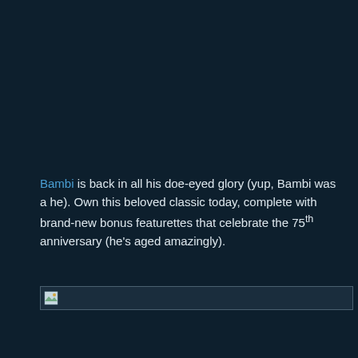Bambi is back in all his doe-eyed glory (yup, Bambi was a he). Own this beloved classic today, complete with brand-new bonus featurettes that celebrate the 75th anniversary (he's aged amazingly).
[Figure (other): Broken/missing image placeholder with small thumbnail icon and horizontal line border]